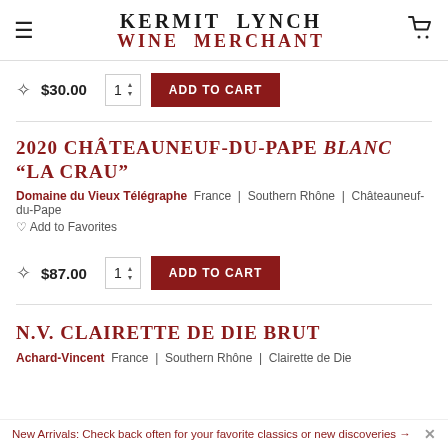KERMIT LYNCH WINE MERCHANT
★ $30.00  1  ADD TO CART
2020 CHÂTEAUNEUF-DU-PAPE BLANC "LA CRAU"
Domaine du Vieux Télégraphe  France | Southern Rhône | Châteauneuf-du-Pape
♡ Add to Favorites
★ $87.00  1  ADD TO CART
N.V. CLAIRETTE DE DIE BRUT
Achard-Vincent  France | Southern Rhône | Clairette de Die
New Arrivals: Check back often for your favorite classics or new discoveries →